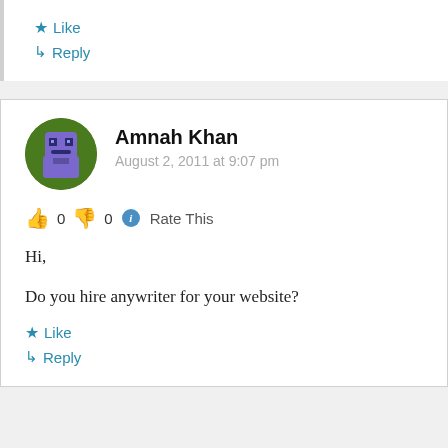★ Like
↳ Reply
Amnah Khan
August 2, 2011 at 9:07 pm
👍 0 👎 0 ℹ Rate This
Hi,

Do you hire anywriter for your website?
★ Like
↳ Reply